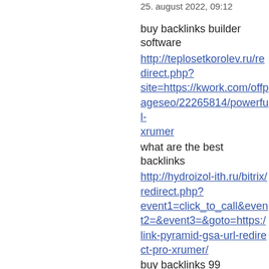25. august 2022, 09:12
buy backlinks builder software
http://teplosetkorolev.ru/redirect.php?site=https://kwork.com/offpageseo/22265814/powerful-xrumer
what are the best backlinks
http://hydroizol-ith.ru/bitrix/redirect.php?event1=click_to_call&event2=&event3=&goto=https:/link-pyramid-gsa-url-redirect-pro-xrumer/
buy backlinks 99
http://www.google.com.bo/url?sa=t&url=https://kwork.com/offpageseo/22265814/powerful-redirect-pro-xrumer
buy backlinks 990
https://mlgzzsn4az22.i.optimole.com/w:auto/h:auto/q:alink-pyramid-gsa-url-redirect-pro-xrumer/
do you have to buy backlinks
http://www.wsf.hu/go?url=https%2a%2f%2fkwork.com%2Foffpageseo%2F...